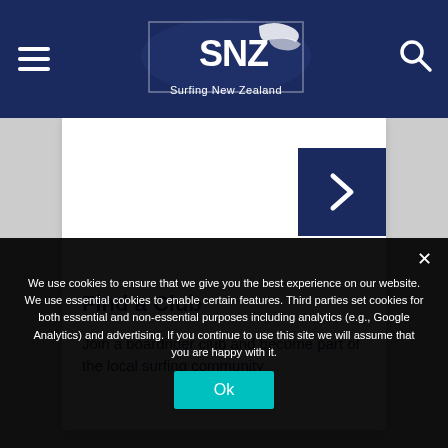Surfing New Zealand
[Figure (logo): Surfing New Zealand logo with wave graphic and text]
Find a Club
Join a boardrider club and become part of the local surfing community
We use cookies to ensure that we give you the best experience on our website. We use essential cookies to enable certain features. Third parties set cookies for both essential and non-essential purposes including analytics (e.g., Google Analytics) and advertising. If you continue to use this site we will assume that you are happy with it.